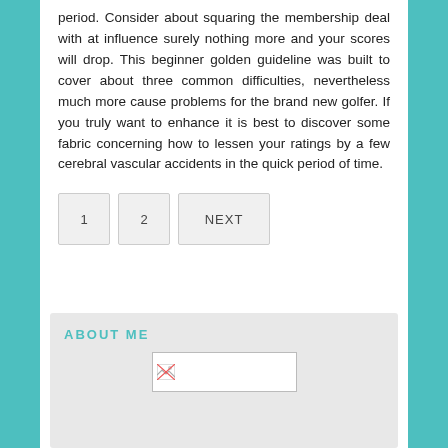period. Consider about squaring the membership deal with at influence surely nothing more and your scores will drop. This beginner golden guideline was built to cover about three common difficulties, nevertheless much more cause problems for the brand new golfer. If you truly want to enhance it is best to discover some fabric concerning how to lessen your ratings by a few cerebral vascular accidents in the quick period of time.
1
2
NEXT
ABOUT ME
[Figure (other): Broken image placeholder thumbnail]